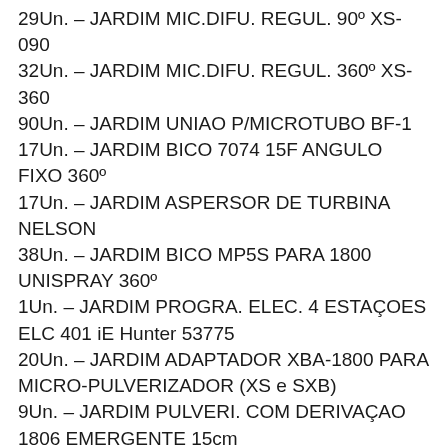29Un. – JARDIM MIC.DIFU. REGUL. 90º XS-090
32Un. – JARDIM MIC.DIFU. REGUL. 360º XS-360
90Un. – JARDIM UNIAO P/MICROTUBO BF-1
17Un. – JARDIM BICO 7074 15F ANGULO FIXO 360º
17Un. – JARDIM ASPERSOR DE TURBINA NELSON
38Un. – JARDIM BICO MP5S PARA 1800 UNISPRAY 360º
1Un. – JARDIM PROGRA. ELEC. 4 ESTAÇOES ELC 401 iE Hunter 53775
20Un. – JARDIM ADAPTADOR XBA-1800 PARA MICRO-PULVERIZADOR (XS e SXB)
9Un. – JARDIM PULVERI. COM DERIVAÇAO 1806 EMERGENTE 15cm
40Un. – JARDIM EXTENÇAO DE ELEVAÇAO 15cm PARA PULVERIZADOR
10Un. – JARDIM TE DERIVAÇAO 1" 18566 (MTT-